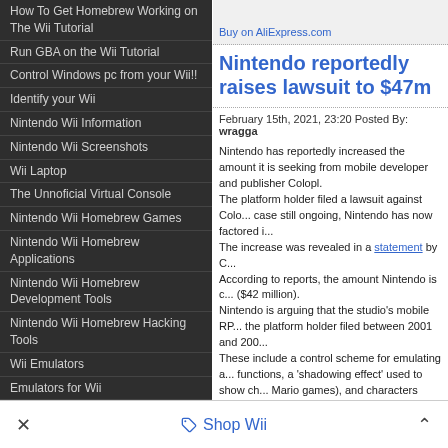How To Get Homebrew Working on The Wii Tutorial
Run GBA on the Wii Tutorial
Control Windows pc from your Wii!!
Identify your Wii
Nintendo Wii Information
Nintendo Wii Screenshots
Wii Laptop
The Unnoficial Virtual Console
Nintendo Wii Homebrew Games
Nintendo Wii Homebrew Applications
Nintendo Wii Homebrew Development Tools
Nintendo Wii Homebrew Hacking Tools
Wii Emulators
Emulators for Wii
Nintendo Wii Review
Wii Console Review
Gamecube Section
Tutorial to get Homebrew and Emulators to Work on Gamecube Without Modding
GBA Roms
Gamecube Roms
Nintendo DS Review
GBA Emulator FAQ
Buy on AliExpress.com
Nintendo reportedly raises lawsuit to $47m
February 15th, 2021, 23:20 Posted By: wragga
Nintendo has reportedly increased the amount it is seeking from mobile developer and publisher Colopl. The platform holder filed a lawsuit against Colopl... The increase was revealed in a statement by C... According to reports, the amount Nintendo is c... ($42 million). Nintendo is arguing that the studio's mobile RP... the platform holder filed between 2001 and 200... These include a control scheme for emulating a... functions, a 'shadowing effect' used to show ch... Mario games), and characters automatically ta... pressed. Siliconera reports Colopl is "confident that our ... will continue to defend this stance.
Shop Wii